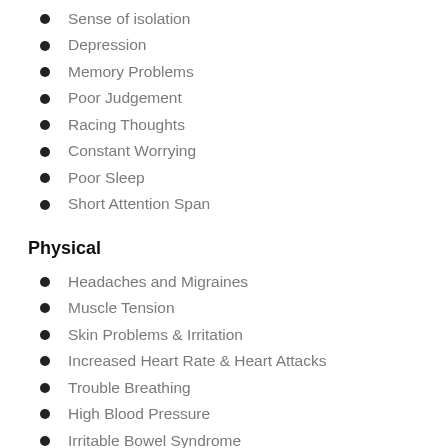Sense of isolation
Depression
Memory Problems
Poor Judgement
Racing Thoughts
Constant Worrying
Poor Sleep
Short Attention Span
Physical
Headaches and Migraines
Muscle Tension
Skin Problems & Irritation
Increased Heart Rate & Heart Attacks
Trouble Breathing
High Blood Pressure
Irritable Bowel Syndrome
Hormonal Imbalance
Hair Loss